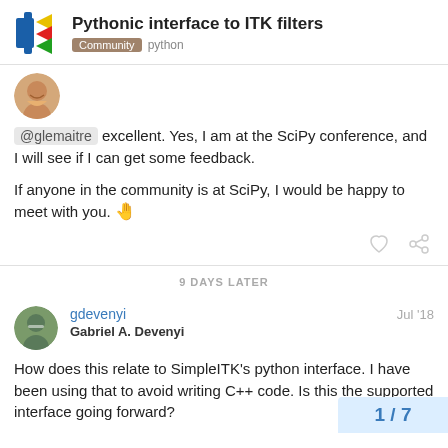Pythonic interface to ITK filters — Community python
@glemaitre excellent. Yes, I am at the SciPy conference, and I will see if I can get some feedback.

If anyone in the community is at SciPy, I would be happy to meet with you. 🤚
9 DAYS LATER
gdevenyi Jul '18
Gabriel A. Devenyi
How does this relate to SimpleITK's python interface. I have been using that to avoid writing C++ code. Is this the supported interface going forward?
1 / 7